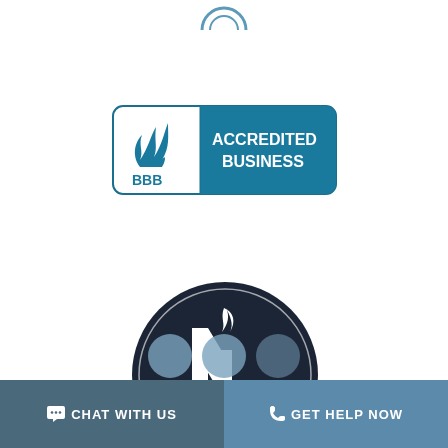[Figure (logo): Partial blue circular logo at the very top center of the page (cropped)]
[Figure (logo): BBB Accredited Business badge: white left panel with BBB flame logo and 'BBB' text, blue right panel with white text reading 'ACCREDITED BUSINESS']
[Figure (logo): Nashville Area Chamber of Commerce Proud Member circular badge: dark navy circle with white stylized N logo and torch, text 'PROUD MEMBER' centered and 'NASHVILLE AREA CHAMBER' around the bottom arc]
[Figure (logo): Partial social media icon circles (blue) visible at the bottom above the footer bar]
CHAT WITH US
GET HELP NOW